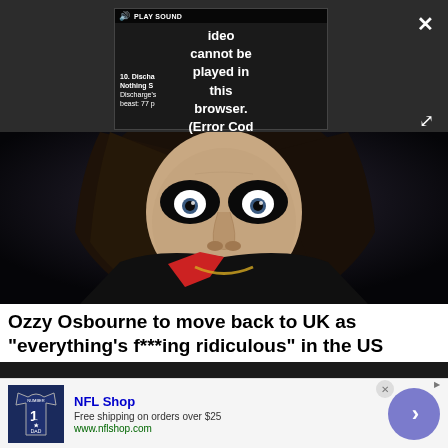[Figure (screenshot): Video player overlay showing 'PLAY SOUND' button with volume icon and error message: 'Video cannot be played in this browser. (Error Cod' with playlist item text '10. Disch... Nothing S... Discharge's beast: 77 p'. Close (X) button top right, expand icon bottom right.]
[Figure (photo): Photo of Ozzy Osbourne with long dark hair, heavy eye makeup (black eye shadow), wearing a black jacket with red lapel and gold chain necklace, looking directly at camera against a dark background.]
Ozzy Osbourne to move back to UK as "everything's f***ing ridiculous" in the US
[Figure (screenshot): NFL Shop advertisement banner. Shows a Dallas Cowboys navy jersey with number 1 graphic and DAD text. Ad text: 'NFL Shop', 'Free shipping on orders over $25', 'www.nflshop.com'. Purple/lavender arrow circle button on right side.]